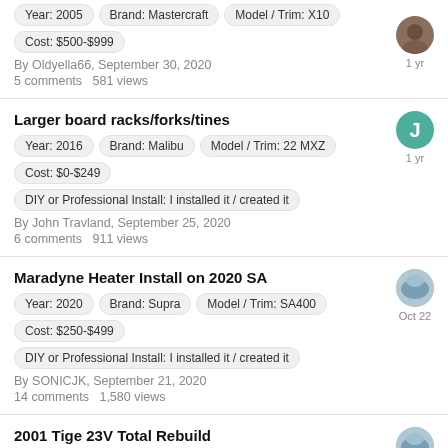Year: 2005 | Brand: Mastercraft | Model / Trim: X10 | Cost: $500-$999 | By Oldyella66, September 30, 2020 | 5 comments  581 views | 1 yr
Larger board racks/forks/tines | Year: 2016 | Brand: Malibu | Model / Trim: 22 MXZ | Cost: $0-$249 | DIY or Professional Install: I installed it / created it | By John Travland, September 25, 2020 | 6 comments  911 views | 1 yr
Maradyne Heater Install on 2020 SA | Year: 2020 | Brand: Supra | Model / Trim: SA400 | Cost: $250-$499 | DIY or Professional Install: I installed it / created it | By SONICJK, September 21, 2020 | 14 comments  1,580 views | Oct 22
2001 Tige 23V Total Rebuild